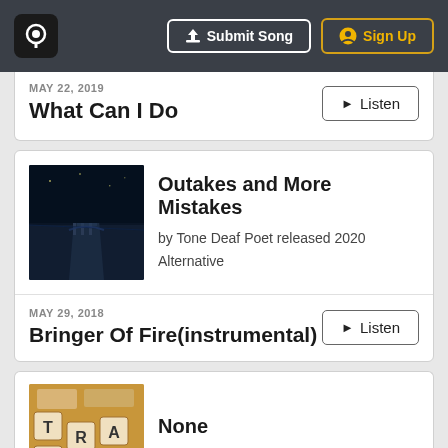Submit Song | Sign Up
MAY 22, 2019
What Can I Do
Listen
[Figure (photo): Album art for Outakes and More Mistakes - nighttime dock/pier scene]
Outakes and More Mistakes
by Tone Deaf Poet released 2020 Alternative
MAY 29, 2018
Bringer Of Fire(instrumental)
Listen
[Figure (photo): Album art for None - Scrabble tiles spelling TRAVEL]
None
by Tone Deaf Poet released 2020